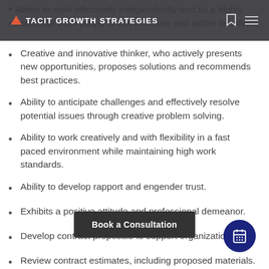Ability to work effectively independently and as a highly resourceful team player under pressure and within deadlines
TACIT GROWTH STRATEGIES
Creative and innovative thinker, who actively presents new opportunities, proposes solutions and recommends best practices.
Ability to anticipate challenges and effectively resolve potential issues through creative problem solving.
Ability to work creatively and with flexibility in a fast paced environment while maintaining high work standards.
Ability to develop rapport and engender trust.
Exhibits a positive attitude and professional demeanor.
Develop contract proposals to support organization goals
Review contract estimates, including proposed materials.